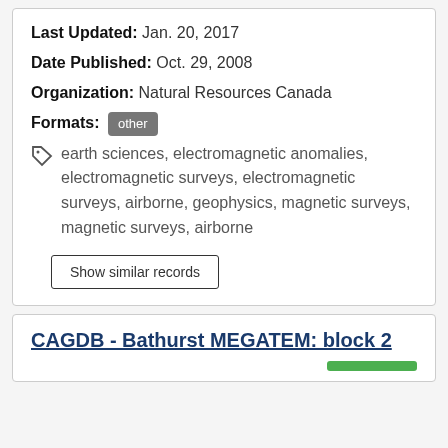Last Updated: Jan. 20, 2017
Date Published: Oct. 29, 2008
Organization: Natural Resources Canada
Formats: other
earth sciences, electromagnetic anomalies, electromagnetic surveys, electromagnetic surveys, airborne, geophysics, magnetic surveys, magnetic surveys, airborne
Show similar records
CAGDB - Bathurst MEGATEM: block 2